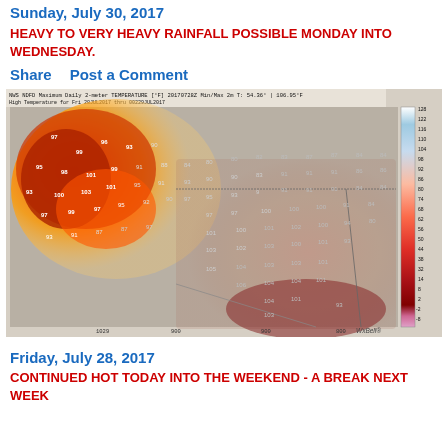Sunday, July 30, 2017
HEAVY TO VERY HEAVY RAINFALL POSSIBLE MONDAY INTO WEDNESDAY.
Share    Post a Comment
[Figure (map): NWS NDFD Maximum Daily 2-meter Temperature map [°F] for Texas and surrounding states, dated 20170728Z, showing temperature gradients with orange/red heat in west and pink/brown in Texas. Scale ranges from approximately 54°F to 106°F. Labels: Min/Max 2m T: 54.36° | 106.95°F. High Temperature for Fri 28JUL2017 thru 0022 29JUL2017. WxBell logo in lower right.]
Friday, July 28, 2017
CONTINUED HOT TODAY INTO THE WEEKEND - A BREAK NEXT WEEK